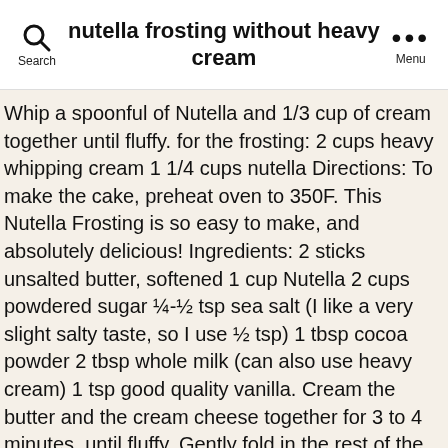nutella frosting without heavy cream
Whip a spoonful of Nutella and 1/3 cup of cream together until fluffy. for the frosting: 2 cups heavy whipping cream 1 1/4 cups nutella Directions: To make the cake, preheat oven to 350F. This Nutella Frosting is so easy to make, and absolutely delicious! Ingredients: 2 sticks unsalted butter, softened 1 cup Nutella 2 cups powdered sugar ¼-½ tsp sea salt (I like a very slight salty taste, so I use ½ tsp) 1 tbsp cocoa powder 2 tbsp whole milk (can also use heavy cream) 1 tsp good quality vanilla. Cream the butter and the cream cheese together for 3 to 4 minutes, until fluffy. Gently fold in the rest of the whipped cream until combined and smooth. Then you're going to go absolutely crazy for this light and fluffy Nutella Frosting! Don't worry, it will not change its taste as cream cheese does. Transfer mixture to the bowl of an electric mixer; refrigerate until … Make sure that the butter and cream cheese are at room temperature, not too cold, but not warm either. Facebook...